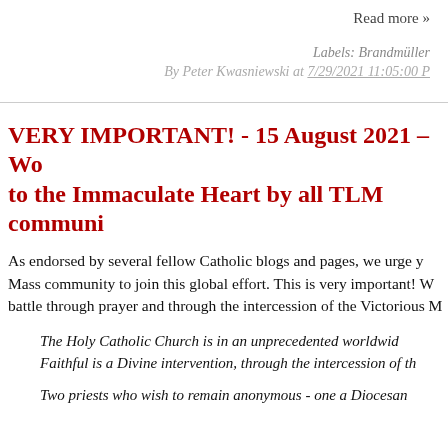Read more »
Labels: Brandmüller
By Peter Kwasniewski at 7/29/2021 11:05:00 ...
VERY IMPORTANT! - 15 August 2021 – Wo... to the Immaculate Heart by all TLM communi...
As endorsed by several fellow Catholic blogs and pages, we urge y... Mass community to join this global effort. This is very important! W... battle through prayer and through the intercession of the Victorious M...
The Holy Catholic Church is in an unprecedented worldwid... Faithful is a Divine intervention, through the intercession of th...
Two priests who wish to remain anonymous - one a Diocesan...